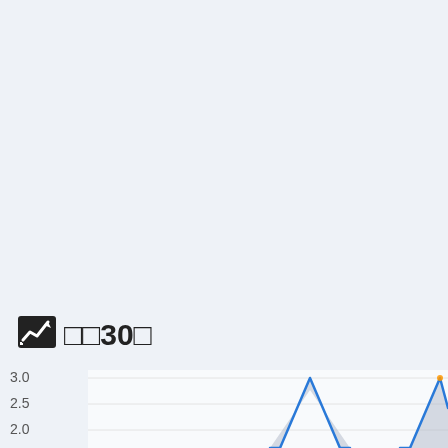[Figure (continuous-plot): Partial line chart showing two sharp blue peaks rising to ~3.0 on the y-axis, with a light grey fill beneath the curve. Y-axis labels visible: 3.0, 2.5, 2.0. Title area shows a trend icon and label '□□30□'. The chart is cropped — only the bottom portion is visible.]